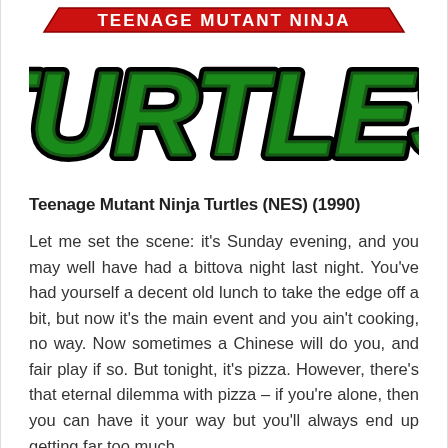[Figure (logo): Teenage Mutant Ninja Turtles logo with red banner text 'TEENAGE MUTANT NINJA' and large green stylized 'TURTLES' lettering with black outline]
Teenage Mutant Ninja Turtles (NES) (1990)
Let me set the scene: it's Sunday evening, and you may well have had a bittova night last night. You've had yourself a decent old lunch to take the edge off a bit, but now it's the main event and you ain't cooking, no way. Now sometimes a Chinese will do you, and fair play if so. But tonight, it's pizza. However, there's that eternal dilemma with pizza – if you're alone, then you can have it your way but you'll always end up getting far too much